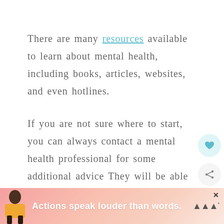There are many resources available to learn about mental health, including books, articles, websites, and even hotlines.
If you are not sure where to start, you can always contact a mental health professional for some additional advice They will be able to provide you with pieces of information that are sp[ecific to] your situation and thus point you in the [right direction]
[Figure (other): Heart icon button (teal circle with white heart) and share icon button (light gray circle with share symbol)]
[Figure (other): What's Next panel showing a circular thumbnail image and text 'Want To Improve You...']
[Figure (other): Advertisement banner with pink/coral gradient background, person figure on left, text 'Actions speak louder than words.' in white bold font, and a logo on the right]